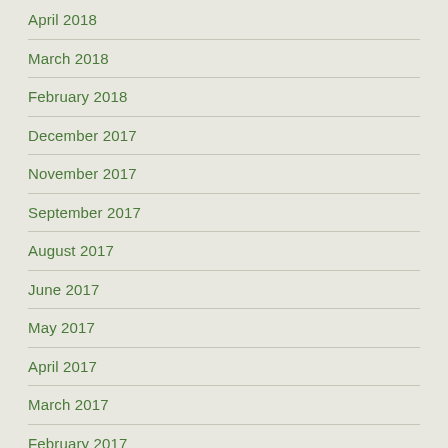April 2018
March 2018
February 2018
December 2017
November 2017
September 2017
August 2017
June 2017
May 2017
April 2017
March 2017
February 2017
November 2016
October 2016
September 2016